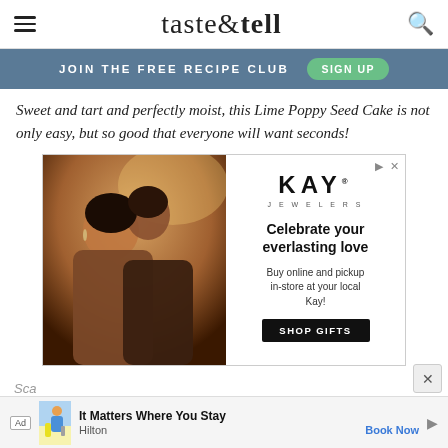taste & tell
JOIN THE FREE RECIPE CLUB   SIGN UP
Sweet and tart and perfectly moist, this Lime Poppy Seed Cake is not only easy, but so good that everyone will want seconds!
[Figure (photo): Kay Jewelers advertisement showing a couple embracing, with text 'KAY JEWELERS - Celebrate your everlasting love - Buy online and pickup in-store at your local Kay! - SHOP GIFTS']
[Figure (photo): Hilton advertisement banner showing a person with luggage, text 'It Matters Where You Stay - Hilton - Book Now']